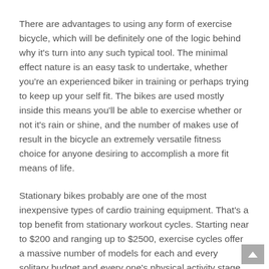There are advantages to using any form of exercise bicycle, which will be definitely one of the logic behind why it's turn into any such typical tool. The minimal effect nature is an easy task to undertake, whether you're an experienced biker in training or perhaps trying to keep up your self fit. The bikes are used mostly inside this means you'll be able to exercise whether or not it's rain or shine, and the number of makes use of result in the bicycle an extremely versatile fitness choice for anyone desiring to accomplish a more fit means of life.
Stationary bikes probably are one of the most inexpensive types of cardio training equipment. That's a top benefit from stationary workout cycles. Starting near to $200 and ranging up to $2500, exercise cycles offer a massive number of models for each and every solitary budget and every one's physical activity stage.